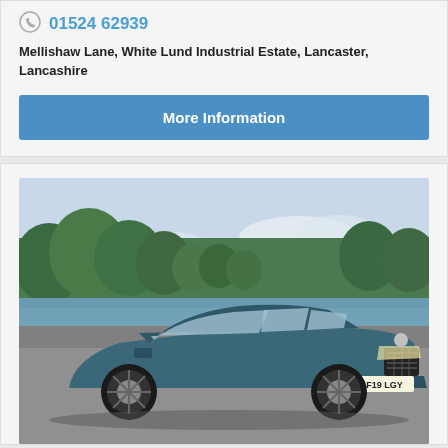01524 62939
Mellishaw Lane, White Lund Industrial Estate, Lancaster, Lancashire
More Information
[Figure (photo): Photo of a teal/dark blue Skoda Octavia sedan car with registration plate GF19 LGY, parked on a driveway with green trees and a lake/river in the background]